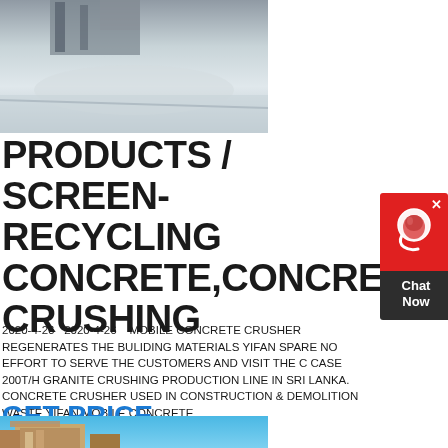[Figure (photo): Industrial/construction site photo showing machinery and concrete area from above]
PRODUCTS / SCREEN-RECYCLING CONCRETE,CONCRETE CRUSHING
[Figure (other): Chat Now widget with red background and headset icon]
2020-4-26  2020-4-26   MOBILE CONCRETE CRUSHER REGENERATES THE BULIDING MATERIALS YIFAN SPARE NO EFFORT TO SERVE THE CUSTOMERS AND VISIT THE CASE 200T/H GRANITE CRUSHING PRODUCTION LINE IN SRI LANKA. CONCRETE CRUSHER USED IN CONSTRUCTION & DEMOLITION WASTE YIFAN MOBILE CONCRETE
GET PRICE
[Figure (photo): Construction building photo with brick facade against blue sky background]